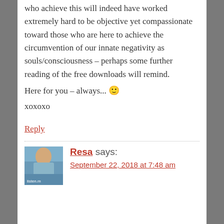who achieve this will indeed have worked extremely hard to be objective yet compassionate toward those who are here to achieve the circumvention of our innate negativity as souls/consciousness – perhaps some further reading of the free downloads will remind.
Here for you – always... 🙂
xoxoxo
Reply
Resa says:
September 22, 2018 at 7:48 am